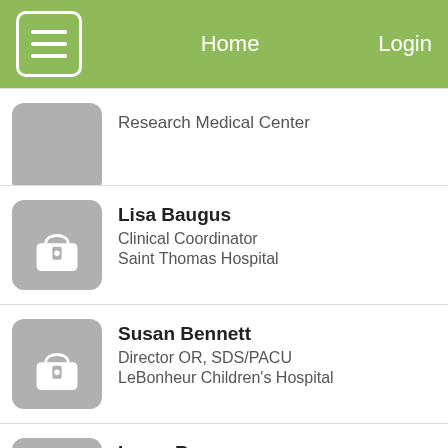Home  Login
Research Medical Center
Lisa Baugus
Clinical Coordinator
Saint Thomas Hospital
Susan Bennett
Director OR, SDS/PACU
LeBonheur Children's Hospital
Laura Berger
Nurse Mgr/Supervisor/Coord/Tm Leader/Bus Mgr
PAMC Sterile Processing Dept
Tammy Bilyeu
...